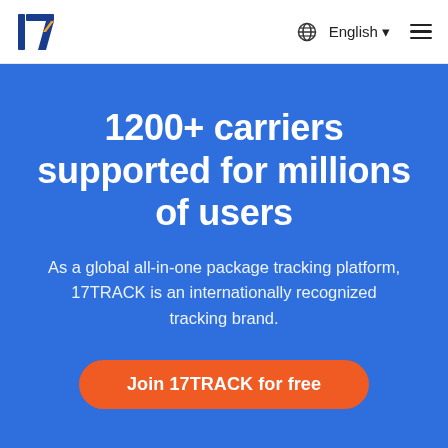[Figure (logo): 17TRACK logo with bold blue '17' and orange diagonal slash]
⊕ English ▼  ≡
1200+ carriers supported for millions of users
As a global all-in-one package tracking platform, 17TRACK is an internationally recognized tracking brand.
Join 17TRACK for free